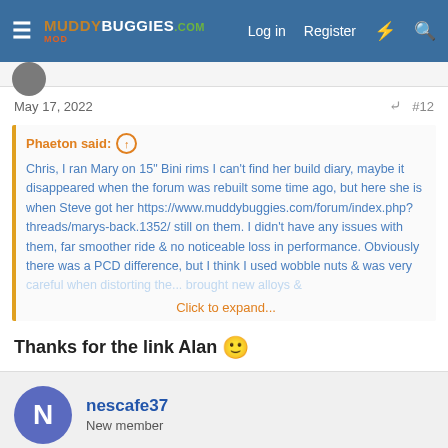MuddyBuggies.com | Log in | Register
May 17, 2022  #12
Phaeton said: ↑

Chris, I ran Mary on 15" Bini rims I can't find her build diary, maybe it disappeared when the forum was rebuilt some time ago, but here she is when Steve got her https://www.muddybuggies.com/forum/index.php?threads/marys-back.1352/ still on them. I didn't have any issues with them, far smoother ride & no noticeable loss in performance. Obviously there was a PCD difference, but I think I used wobble nuts & was very careful when distorting the...
Click to expand...
Thanks for the link Alan 🙂
nescafe37
New member